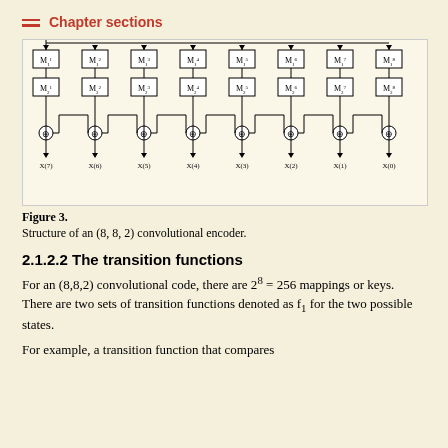Chapter sections
[Figure (engineering-diagram): Block diagram of an (8,8,2) convolutional encoder showing 8 stages, each with two memory elements M1 and M2 (with superscripts 1-8), connected through XOR adder circles, with outputs X(7) through X(0).]
Figure 3.
Structure of an (8, 8, 2) convolutional encoder.
2.1.2.2 The transition functions
For an (8,8,2) convolutional code, there are 2^8 = 256 mappings or keys. There are two sets of transition functions denoted as f_1 for the two possible states.
For example, a transition function that compares